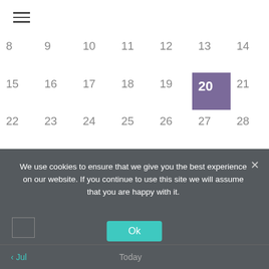[Figure (screenshot): Hamburger menu icon (three horizontal lines) in top navigation bar]
| 8 | 9 | 10 | 11 | 12 | 13 | 14 |
| 15 | 16 | 17 | 18 | 19 | 20 | 21 |
| 22 | 23 | 24 | 25 | 26 | 27 | 28 |
| 29 | 30 | 31 | 1 | 2 | 3 | 4 |
We use cookies to ensure that we give you the best experience on our website. If you continue to use this site we will assume that you are happy with it.
Ok
< Jul   Today